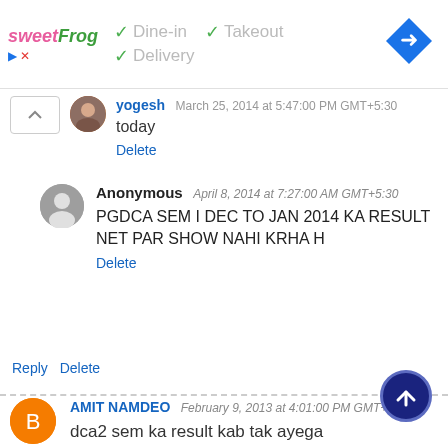[Figure (screenshot): Ad banner for sweetFrog showing Dine-in, Takeout, Delivery options with a navigation arrow icon]
yogesh   March 25, 2014 at 5:47:00 PM GMT+5:30
today
Delete
Anonymous   April 8, 2014 at 7:27:00 AM GMT+5:30
PGDCA SEM I DEC TO JAN 2014 KA RESULT NET PAR SHOW NAHI KRHA H
Delete
Reply   Delete
AMIT NAMDEO   February 9, 2013 at 4:01:00 PM GMT+5:30
dca2 sem ka result kab tak ayega
Reply   Delete